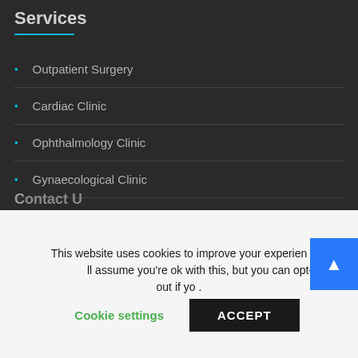Services
Outpatient Surgery
Cardiac Clinic
Ophthalmology Clinic
Gynaecological Clinic
Outpatient Rehabilitation
This website uses cookies to improve your experience. We'll assume you're ok with this, but you can opt-out if you wish.
Cookie settings
ACCEPT